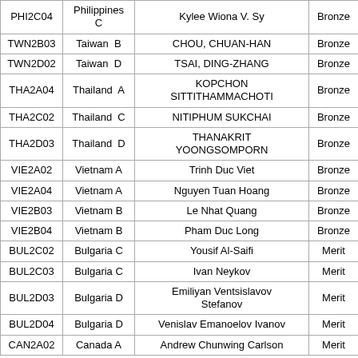| Code | Team | Name | Award |
| --- | --- | --- | --- |
| PHI2C04 | Philippines C | Kylee Wiona V. Sy | Bronze |
| TWN2B03 | Taiwan  B | CHOU, CHUAN-HAN | Bronze |
| TWN2D02 | Taiwan  D | TSAI, DING-ZHANG | Bronze |
| THA2A04 | Thailand  A | KOPCHON SITTITHAMMACHOTI | Bronze |
| THA2C02 | Thailand  C | NITIPHUM SUKCHAI | Bronze |
| THA2D03 | Thailand  D | THANAKRIT YOONGSOMPORN | Bronze |
| VIE2A02 | Vietnam A | Trinh Duc Viet | Bronze |
| VIE2A04 | Vietnam A | Nguyen Tuan Hoang | Bronze |
| VIE2B03 | Vietnam B | Le Nhat Quang | Bronze |
| VIE2B04 | Vietnam B | Pham Duc Long | Bronze |
| BUL2C02 | Bulgaria C | Yousif Al-Saifi | Merit |
| BUL2C03 | Bulgaria C | Ivan Neykov | Merit |
| BUL2D03 | Bulgaria D | Emiliyan Ventsislavov Stefanov | Merit |
| BUL2D04 | Bulgaria D | Venislav Emanoelov Ivanov | Merit |
| CAN2A02 | Canada A | Andrew Chunwing Carlson | Merit |